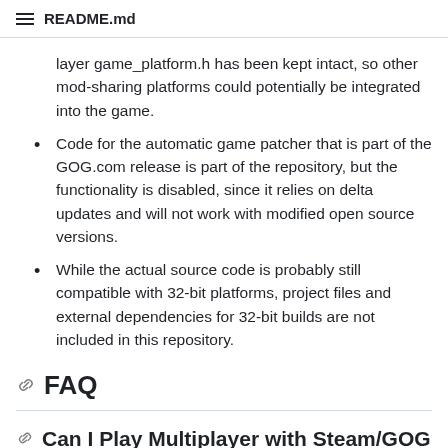README.md
layer game_platform.h has been kept intact, so other mod-sharing platforms could potentially be integrated into the game.
Code for the automatic game patcher that is part of the GOG.com release is part of the repository, but the functionality is disabled, since it relies on delta updates and will not work with modified open source versions.
While the actual source code is probably still compatible with 32-bit platforms, project files and external dependencies for 32-bit builds are not included in this repository.
FAQ
Can I Play Multiplayer with Steam/GOG